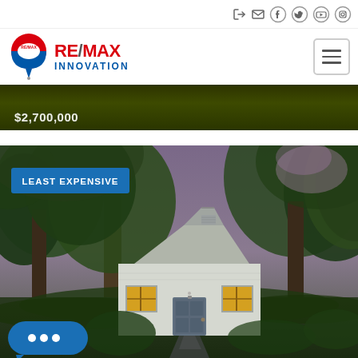RE/MAX INNOVATION
$2,700,000
[Figure (photo): Exterior photo of a small white cottage-style house surrounded by large trees, with a lit street lamp in the foreground, at dusk. A 'LEAST EXPENSIVE' label badge appears in the top-left corner of the image.]